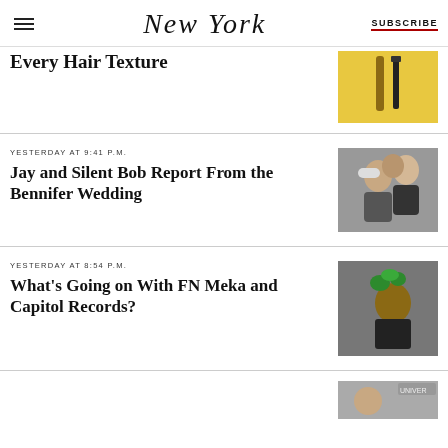NEW YORK | SUBSCRIBE
Every Hair Texture
YESTERDAY AT 9:41 P.M.
Jay and Silent Bob Report From the Bennifer Wedding
YESTERDAY AT 8:54 P.M.
What's Going on With FN Meka and Capitol Records?